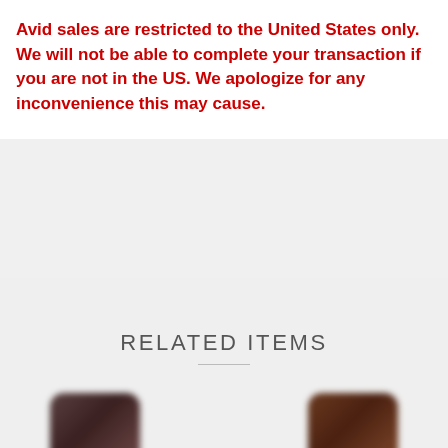Avid sales are restricted to the United States only. We will not be able to complete your transaction if you are not in the US. We apologize for any inconvenience this may cause.
RELATED ITEMS
[Figure (photo): Blurred thumbnail image of a product, left side]
[Figure (photo): Blurred thumbnail image of a product, right side]